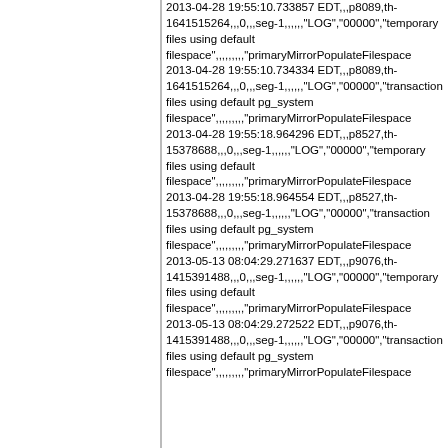2013-04-28 19:55:10.733857 EDT,,,p8089,th-1641515264,,,0,,,seg-1,,,,,"LOG","00000","temporary files using default filespace",,,,,,,,"primaryMirrorPopulateFilespace"
2013-04-28 19:55:10.734334 EDT,,,p8089,th-1641515264,,,0,,,seg-1,,,,,"LOG","00000","transaction files using default pg_system filespace",,,,,,,,"primaryMirrorPopulateFilespace"
2013-04-28 19:55:18.964296 EDT,,,p8527,th-15378688,,,0,,,seg-1,,,,,"LOG","00000","temporary files using default filespace",,,,,,,,"primaryMirrorPopulateFilespace"
2013-04-28 19:55:18.964554 EDT,,,p8527,th-15378688,,,0,,,seg-1,,,,,"LOG","00000","transaction files using default pg_system filespace",,,,,,,,"primaryMirrorPopulateFilespace"
2013-05-13 08:04:29.271637 EDT,,,p9076,th-1415391488,,,0,,,seg-1,,,,,"LOG","00000","temporary files using default filespace",,,,,,,,"primaryMirrorPopulateFilespace"
2013-05-13 08:04:29.272522 EDT,,,p9076,th-1415391488,,,0,,,seg-1,,,,,"LOG","00000","transaction files using default pg_system filespace",,,,,,,,"primaryMirrorPopulateFilespace"